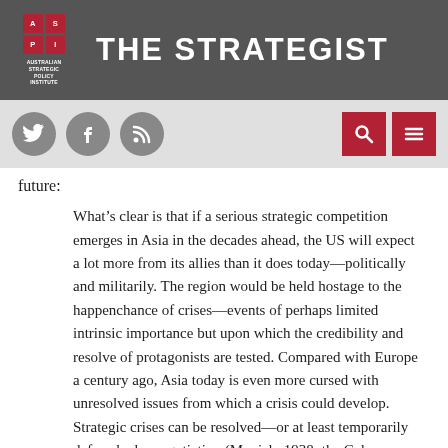THE STRATEGIST
future:
What’s clear is that if a serious strategic competition emerges in Asia in the decades ahead, the US will expect a lot more from its allies than it does today—politically and militarily. The region would be held hostage to the happenchance of crises—events of perhaps limited intrinsic importance but upon which the credibility and resolve of protagonists are tested. Compared with Europe a century ago, Asia today is even more cursed with unresolved issues from which a crisis could develop. Strategic crises can be resolved—or at least temporarily defused—by negotiation (Munich, 1938; the Cuban missile crisis,